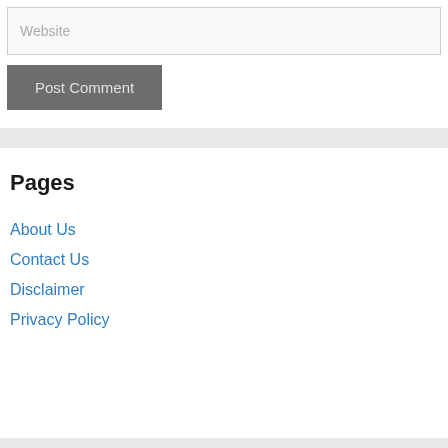Website
Post Comment
Pages
About Us
Contact Us
Disclaimer
Privacy Policy